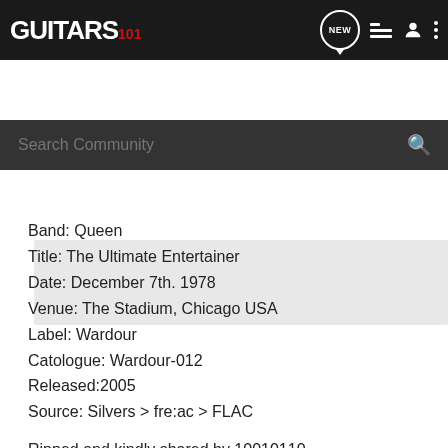GUITARS 101
[Figure (screenshot): Guitars101 community website header with logo, navigation icons (NEW chat bubble, list, user, more), and search bar]
[Figure (photo): Partially visible album or post image placeholder (light grey area)]
Band: Queen
Title: The Ultimate Entertainer
Date: December 7th. 1978
Venue: The Stadium, Chicago USA
Label: Wardour
Catologue: Wardour-012
Released:2005
Source: Silvers > fre:ac > FLAC

Ripped and kindly shared by 10010110